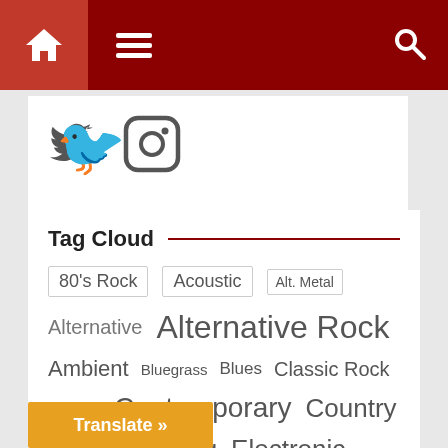[Figure (screenshot): Website navigation bar with home icon, hamburger menu icon, and search icon on dark red background]
[Figure (illustration): Twitter bird icon and Instagram camera icon in gray]
Tag Cloud
80's Rock
Acoustic
Alt. Metal
Alternative
Alternative Rock
Ambient
Bluegrass
Blues
Classic Rock
Comedy
Contemporary
Country
Easy Listening
Electronic
Translate »